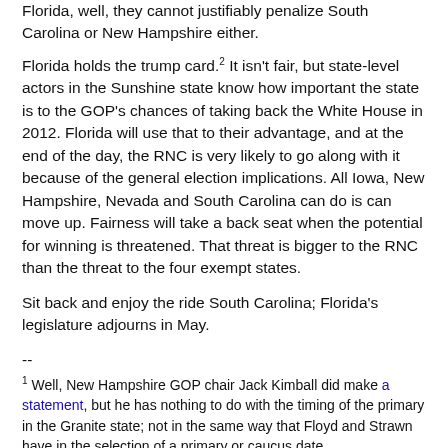Florida, well, they cannot justifiably penalize South Carolina or New Hampshire either.
Florida holds the trump card.2 It isn't fair, but state-level actors in the Sunshine state know how important the state is to the GOP's chances of taking back the White House in 2012. Florida will use that to their advantage, and at the end of the day, the RNC is very likely to go along with it because of the general election implications. All Iowa, New Hampshire, Nevada and South Carolina can do is can move up. Fairness will take a back seat when the potential for winning is threatened. That threat is bigger to the RNC than the threat to the four exempt states.
Sit back and enjoy the ride South Carolina; Florida's legislature adjourns in May.
--
1 Well, New Hampshire GOP chair Jack Kimball did make a statement, but he has nothing to do with the timing of the primary in the Granite state; not in the same way that Floyd and Strawn have in the selection of a primary or caucus date